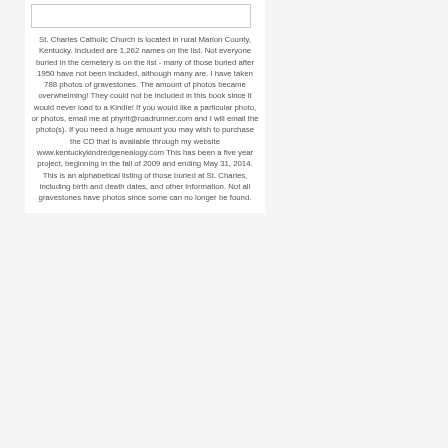[Figure (other): Image placeholder box at top of content area]
St. Charles Catholic Church is located in rural Marion County, Kentucky. Included are 1,262 names on the list. Not everyone buried in the cemetery is on the list - many of those buried after 1950 have not been included, although many are. I have taken 788 photos of gravestones. The amount of photos became overwhelming! They could not be included in this book since it would never load to a Kindle! If you would like a particular photo, or photos, email me at phyrit@roadrunner.com and I will email the photo(s). If you need a huge amount you may wish to purchase the CD that is available through my website www.kentuckykindredgenealogy.com This has been a five year project, beginning in the fall of 2009 and ending May 31, 2014. This is an alphabetical listing of those buried at St. Charles, including birth and death dates, and other information. Not all gravestones have photos since some can no longer be found.